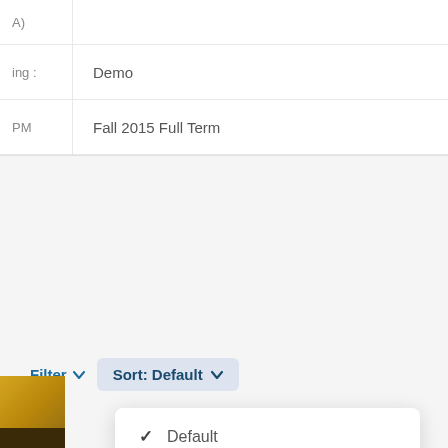| A) |  |
| ing : | Demo |
| PM | Fall 2015 Full Term |
[Figure (screenshot): Filter and Sort: Default dropdown controls with Sort dropdown expanded showing options: Default (checked), Course Name, Course Code, Date Pinned]